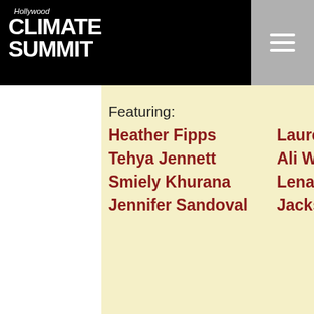[Figure (logo): Hollywood Climate Summit logo — white text on black background, italic 'Hollywood' above bold 'CLIMATE' and 'SUMMIT']
[Figure (other): Hamburger menu icon (three horizontal white lines) on gray background, top right corner]
Featuring:
Heather Fipps
Laurel Tamayo
Tehya Jennett
Ali Weinstein
Smiely Khurana
Lena Welch
Jennifer Sandoval
Jackson Xia
[Figure (other): Dark teal 'Learn More' button]
[Figure (logo): Hollywood Climate Summit logo repeated in footer, blurred/faded on black background]
[Figure (other): Cyan scroll-to-top button with up arrow chevron]
[Figure (other): Social media icons row: TikTok, Instagram, Facebook, Twitter, phone — gray circles on black]
[Figure (other): Green chat bubble icon, bottom right]